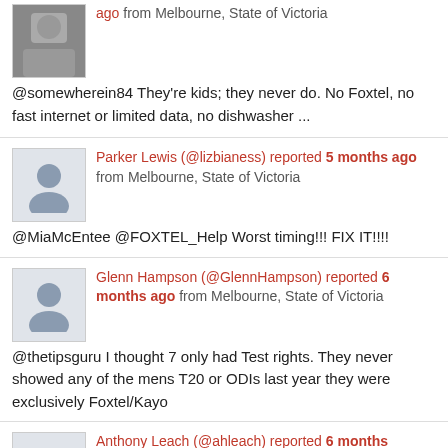ago from Melbourne, State of Victoria @somewherein84 They're kids; they never do. No Foxtel, no fast internet or limited data, no dishwasher ...
Parker Lewis (@lizbianess) reported 5 months ago from Melbourne, State of Victoria @MiaMcEntee @FOXTEL_Help Worst timing!!! FIX IT!!!!
Glenn Hampson (@GlennHampson) reported 6 months ago from Melbourne, State of Victoria @thetipsguru I thought 7 only had Test rights. They never showed any of the mens T20 or ODIs last year they were exclusively Foxtel/Kayo
Anthony Leach (@ahleach) reported 6 months ago from Melbourne, State of Victoria